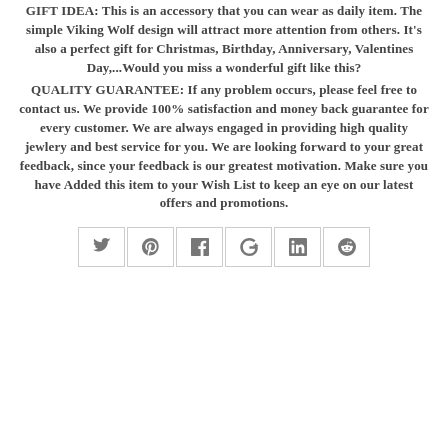GIFT IDEA: This is an accessory that you can wear as daily item. The simple Viking Wolf design will attract more attention from others. It's also a perfect gift for Christmas, Birthday, Anniversary, Valentines Day,...Would you miss a wonderful gift like this?
QUALITY GUARANTEE: If any problem occurs, please feel free to contact us. We provide 100% satisfaction and money back guarantee for every customer. We are always engaged in providing high quality jewlery and best service for you. We are looking forward to your great feedback, since your feedback is our greatest motivation. Make sure you have Added this item to your Wish List to keep an eye on our latest offers and promotions.
[Figure (other): Social media sharing buttons row: Twitter, Pinterest, Facebook, Google+, LinkedIn, Reddit]